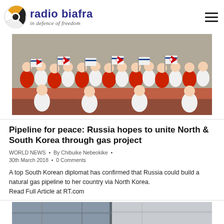radio biafra — in defence of freedom
[Figure (photo): Group of people in red and white uniforms waving North Korean and unified Korean peninsula flags]
Pipeline for peace: Russia hopes to unite North & South Korea through gas project
WORLD NEWS • By Chibuike Nebeokike • 30th March 2018 • 0 Comments
A top South Korean diplomat has confirmed that Russia could build a natural gas pipeline to her country via North Korea.
Read Full Article at RT.com
[Figure (photo): Partial view of a building or structure, bottom of page]